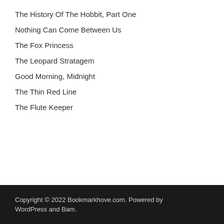The History Of The Hobbit, Part One
Nothing Can Come Between Us
The Fox Princess
The Leopard Stratagem
Good Morning, Midnight
The Thin Red Line
The Flute Keeper
Copyright © 2022 Bookmarkhove.com. Powered by WordPress and Bam.